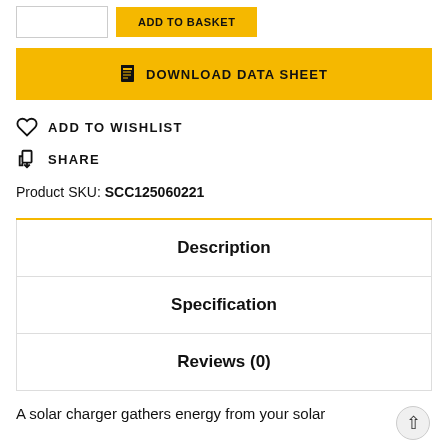[Figure (screenshot): Top partial area showing quantity input box and ADD TO BASKET button in yellow]
[Figure (screenshot): Yellow DOWNLOAD DATA SHEET button with document icon]
ADD TO WISHLIST
SHARE
Product SKU: SCC125060221
Description
Specification
Reviews (0)
A solar charger gathers energy from your solar